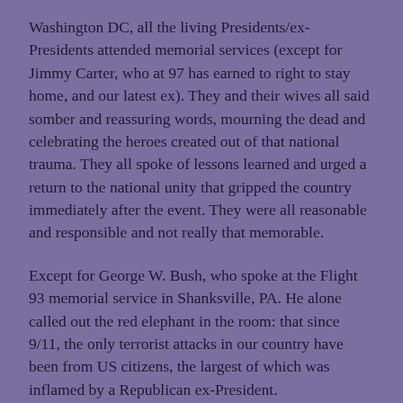Washington DC, all the living Presidents/ex-Presidents attended memorial services (except for Jimmy Carter, who at 97 has earned to right to stay home, and our latest ex). They and their wives all said somber and reassuring words, mourning the dead and celebrating the heroes created out of that national trauma. They all spoke of lessons learned and urged a return to the national unity that gripped the country immediately after the event. They were all reasonable and responsible and not really that memorable.
Except for George W. Bush, who spoke at the Flight 93 memorial service in Shanksville, PA. He alone called out the red elephant in the room: that since 9/11, the only terrorist attacks in our country have been from US citizens, the largest of which was inflamed by a Republican ex-President.
He said: